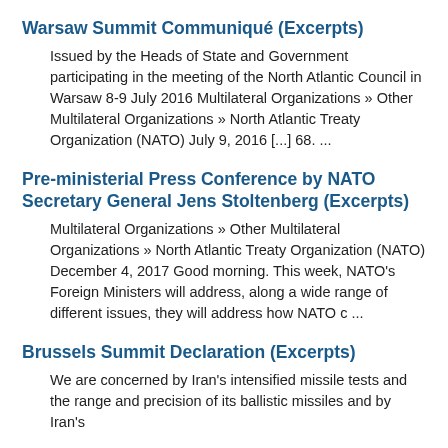Warsaw Summit Communiqué (Excerpts)
Issued by the Heads of State and Government participating in the meeting of the North Atlantic Council in Warsaw 8-9 July 2016 Multilateral Organizations » Other Multilateral Organizations » North Atlantic Treaty Organization (NATO) July 9, 2016 [...] 68. ...
Pre-ministerial Press Conference by NATO Secretary General Jens Stoltenberg (Excerpts)
Multilateral Organizations » Other Multilateral Organizations » North Atlantic Treaty Organization (NATO) December 4, 2017 Good morning. This week, NATO's Foreign Ministers will address, along a wide range of different issues, they will address how NATO c ...
Brussels Summit Declaration (Excerpts)
We are concerned by Iran's intensified missile tests and the range and precision of its ballistic missiles and by Iran's